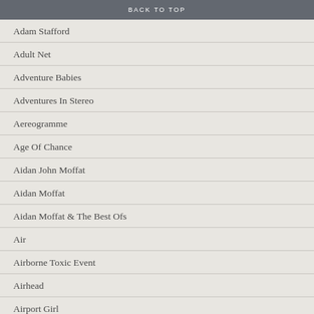BACK TO TOP
Adam Stafford
Adult Net
Adventure Babies
Adventures In Stereo
Aereogramme
Age Of Chance
Aidan John Moffat
Aidan Moffat
Aidan Moffat & The Best Ofs
Air
Airborne Toxic Event
Airhead
Airport Girl